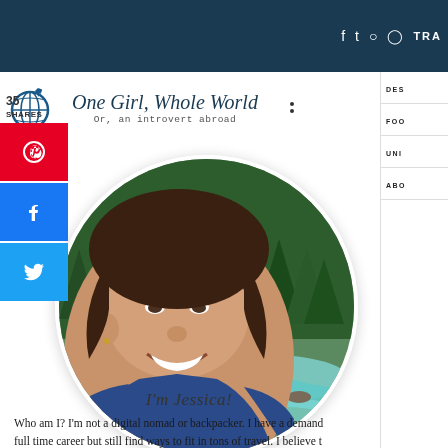f  t  ⊙  ℗  TRA
[Figure (logo): One Girl, Whole World blog logo with globe and airplane icon, tagline: Or, an introvert abroad]
[Figure (photo): Circular portrait photo of Jessica smiling outdoors with a turquoise river and dense evergreen forest in background]
35
SHARES
I'm Jessica!
Who am I? I'm not a digital nomad or backpacker. I have a demanding full time career but still find ways to fit in tons of travel. I believe t